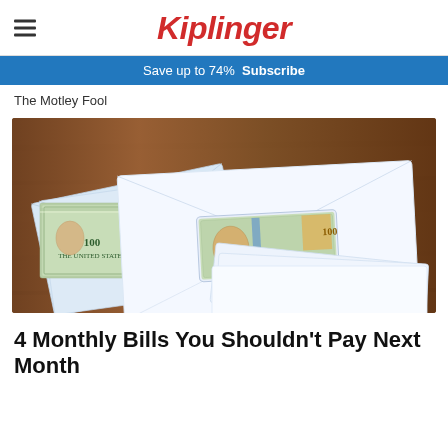Kiplinger
Save up to 74%  Subscribe
The Motley Fool
[Figure (photo): White envelopes containing US $100 dollar bills arranged on a wooden table surface, with money visible through a window cutout in the front envelope.]
4 Monthly Bills You Shouldn't Pay Next Month